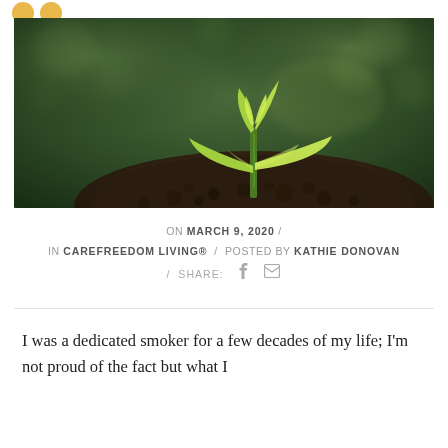[Figure (photo): A young green seedling sprouting from a mound of dark soil against a blurred green background. The plant has two bright yellow-green leaves spreading outward and two smaller leaves growing upward from the center.]
ON MARCH 9, 2020 /
IN CAREFREEDOM LIVING® / POSTED BY KATHIE DONOVAN
/ SHARE: f ✉
I was a dedicated smoker for a few decades of my life; I'm not proud of the fact but what I